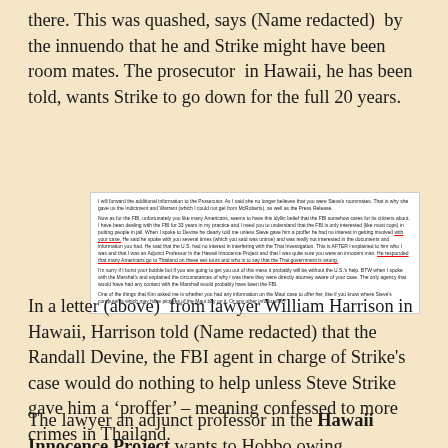there. This was quashed, says (Name redacted) by the innuendo that he and Strike might have been room mates. The prosecutor in Hawaii, he has been told, wants Strike to go down for the full 20 years.
[Figure (screenshot): Scanned letter from lawyer William Harrison in Hawaii with portions underlined in red, discussing FBI agent Randall Devine and Steve Strike's case.]
In a letter (above) from lawyer William Harrison in Hawaii, Harrison told (Name redacted) that the Randall Devine, the FBI agent in charge of Strike's case would do nothing to help unless Steve Strike gave him a ‘proffer’ – meaning confessed to more crimes in Thailand.
The lawyer an adjunct professor in the Hawaii Innocence Project wants to Hobbo owing...